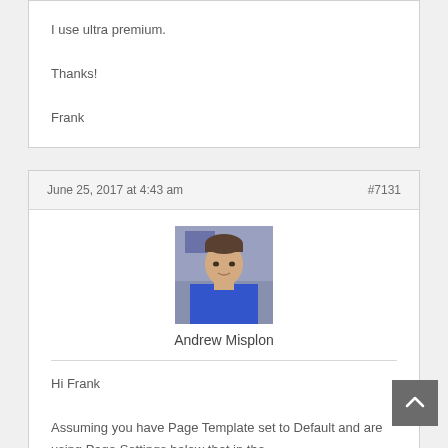I use ultra premium.

Thanks!

Frank
June 25, 2017 at 4:43 am
#7131
[Figure (photo): Profile photo of Andrew Misplon]
Andrew Misplon
Hi Frank

Assuming you have Page Template set to Default and are using Page Settings below that in the